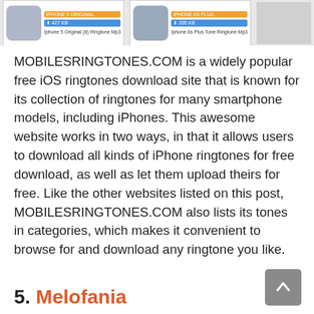[Figure (screenshot): Screenshot strip showing two ringtone download thumbnails with badges and labels: 'Iphone 5 Original (8) Ringtone Mp3' and 'Iphone 6s Plus Tone Ringtone Mp3', followed by a blank grey area.]
MOBILESRINGTONES.COM is a widely popular free iOS ringtones download site that is known for its collection of ringtones for many smartphone models, including iPhones. This awesome website works in two ways, in that it allows users to download all kinds of iPhone ringtones for free download, as well as let them upload theirs for free. Like the other websites listed on this post, MOBILESRINGTONES.COM also lists its tones in categories, which makes it convenient to browse for and download any ringtone you like.
5. Melofania